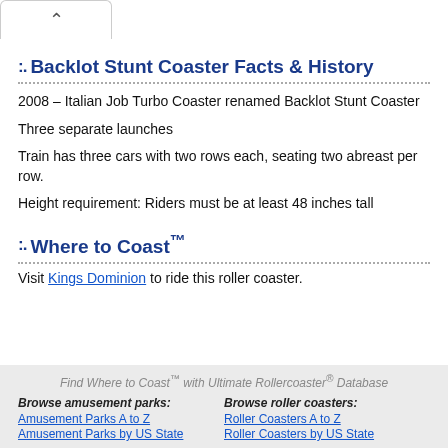:. Backlot Stunt Coaster Facts & History
2008 – Italian Job Turbo Coaster renamed Backlot Stunt Coaster
Three separate launches
Train has three cars with two rows each, seating two abreast per row.
Height requirement: Riders must be at least 48 inches tall
:. Where to Coast™
Visit Kings Dominion to ride this roller coaster.
Find Where to Coast™ with Ultimate Rollercoaster® Database
Browse amusement parks:
Amusement Parks A to Z
Amusement Parks by US State
Browse roller coasters:
Roller Coasters A to Z
Roller Coasters by US State